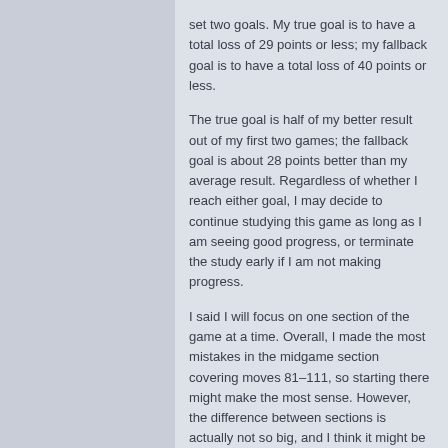set two goals. My true goal is to have a total loss of 29 points or less; my fallback goal is to have a total loss of 40 points or less.
The true goal is half of my better result out of my first two games; the fallback goal is about 28 points better than my average result. Regardless of whether I reach either goal, I may decide to continue studying this game as long as I am seeing good progress, or terminate the study early if I am not making progress.
I said I will focus on one section of the game at a time. Overall, I made the most mistakes in the midgame section covering moves 81–111, so starting there might make the most sense. However, the difference between sections is actually not so big, and I think it might be more exciting to start with the endgame and work my way back towards the